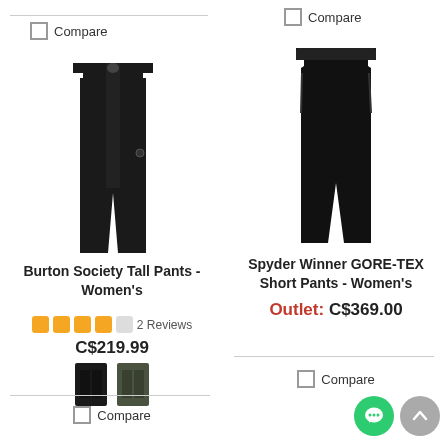[Figure (photo): Black Burton Society Tall Pants left column product image]
[Figure (photo): Black Spyder Winner GORE-TEX Short Pants right column product image]
Burton Society Tall Pants - Women's
Spyder Winner GORE-TEX Short Pants - Women's
4 stars, 2 Reviews
C$219.99
Outlet: C$369.00
Compare
Compare
Compare
Compare